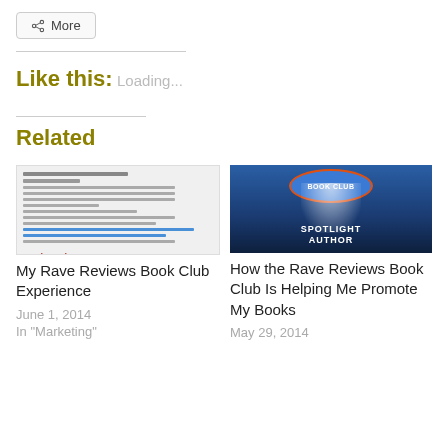More
Like this:
Loading...
Related
[Figure (screenshot): Thumbnail of a document page with lines of text and blue hyperlinks, with orange star ratings below]
My Rave Reviews Book Club Experience
June 1, 2014
In "Marketing"
[Figure (photo): Spotlight Author book club image with blue background, spotlight beam, and red-bordered circular badge reading 'BOOK CLUB']
How the Rave Reviews Book Club Is Helping Me Promote My Books
May 29, 2014